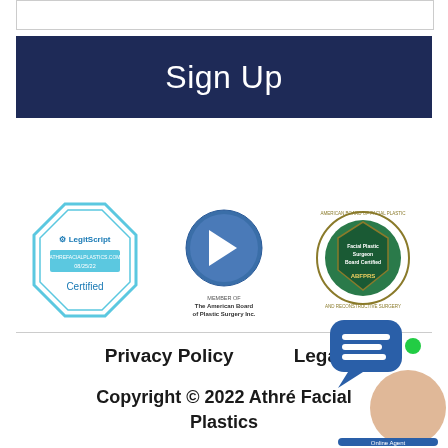[Figure (other): Empty white input/form box outline at top]
Sign Up
[Figure (logo): LegitScript certified badge for athrefacialplastics.com, dated 08/25/22]
[Figure (logo): American Board of Plastic Surgery Inc. member logo]
[Figure (logo): ABFPRS Facial Plastic Surgeon Board Certified badge]
Privacy Policy    Legal
Copyright © 2022 Athré Facial Plastics